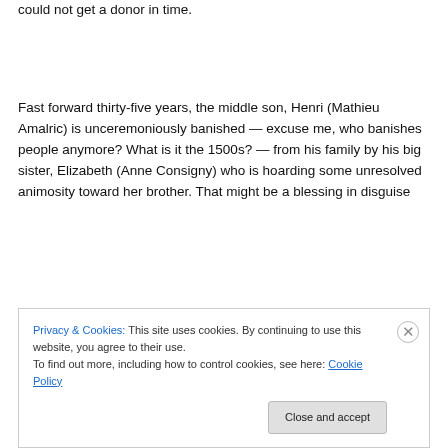could not get a donor in time.
Fast forward thirty-five years, the middle son, Henri (Mathieu Amalric) is unceremoniously banished — excuse me, who banishes people anymore? What is it the 1500s? — from his family by his big sister, Elizabeth (Anne Consigny) who is hoarding some unresolved animosity toward her brother. That might be a blessing in disguise
Privacy & Cookies: This site uses cookies. By continuing to use this website, you agree to their use.
To find out more, including how to control cookies, see here: Cookie Policy
Close and accept